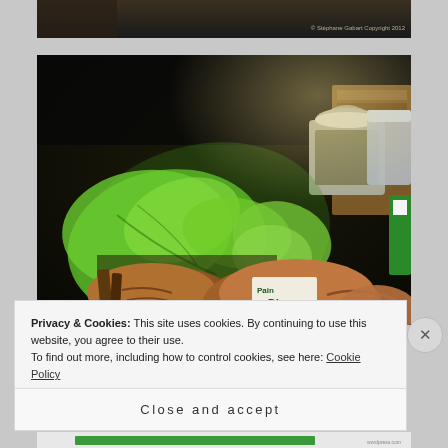[Figure (photo): Top portion of a photo showing dark shelves or market display, with copyright watermark '© Stéphane Gabart Copyright 2012']
[Figure (photo): Photo of organic food market display showing green lettuce/salad leaves and rustic bread loaves with a label reading 'Pain Bio']
Privacy & Cookies: This site uses cookies. By continuing to use this website, you agree to their use.
To find out more, including how to control cookies, see here: Cookie Policy
Close and accept